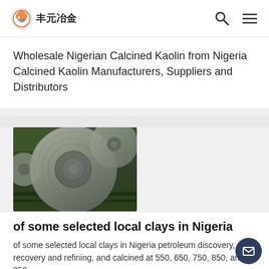丰元冶金
Wholesale Nigerian Calcined Kaolin from Nigeria Calcined Kaolin Manufacturers, Suppliers and Distributors
[Figure (photo): Industrial metal coils or rolls stacked, photographed in a factory or warehouse setting.]
of some selected local clays in Nigeria
of some selected local clays in Nigeria petroleum discovery, recovery and refining, and calcined at 550, 650, 750, 850, and 950